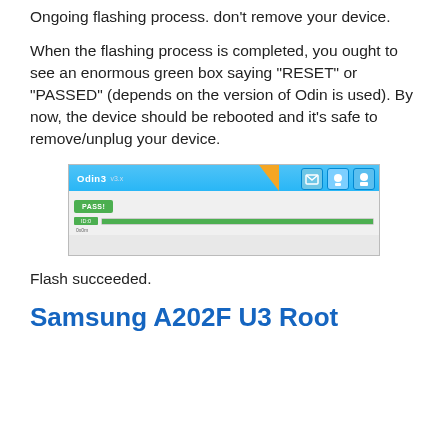Ongoing flashing process. don't remove your device.
When the flashing process is completed, you ought to see an enormous green box saying “RESET” or “PASSED” (depends on the version of Odin is used). By now, the device should be rebooted and it’s safe to remove/unplug your device.
[Figure (screenshot): Screenshot of Odin3 software showing a green PASS button and a completed progress bar, indicating successful flash.]
Flash succeeded.
Samsung A202F U3 Root